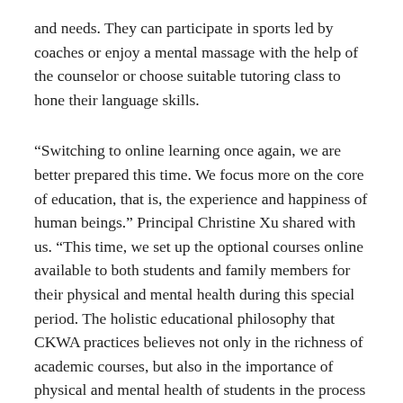and needs. They can participate in sports led by coaches or enjoy a mental massage with the help of the counselor or choose suitable tutoring class to hone their language skills.
“Switching to online learning once again, we are better prepared this time. We focus more on the core of education, that is, the experience and happiness of human beings.” Principal Christine Xu shared with us. “This time, we set up the optional courses online available to both students and family members for their physical and mental health during this special period. The holistic educational philosophy that CKWA practices believes not only in the richness of academic courses, but also in the importance of physical and mental health of students in the process of e-learning.”